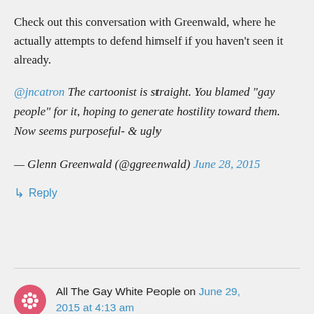Check out this conversation with Greenwald, where he actually attempts to defend himself if you haven't seen it already.
@jncatron The cartoonist is straight. You blamed "gay people" for it, hoping to generate hostility toward them. Now seems purposeful- & ugly
— Glenn Greenwald (@ggreenwald) June 28, 2015
↳ Reply
All The Gay White People on June 29, 2015 at 4:13 am